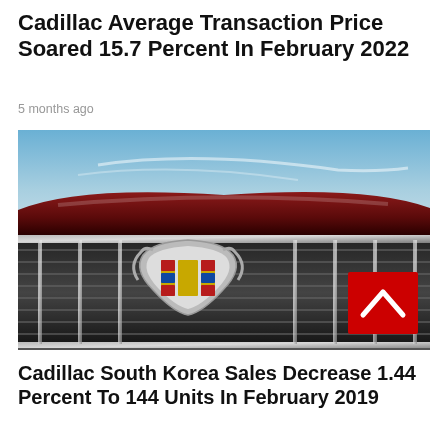Cadillac Average Transaction Price Soared 15.7 Percent In February 2022
5 months ago
[Figure (photo): Close-up front grille of a red Cadillac car showing the iconic Cadillac crest emblem on the grille, with a blue sky in the background. A red badge with a white chevron/arrow icon is visible on the right side of the grille.]
Cadillac South Korea Sales Decrease 1.44 Percent To 144 Units In February 2019